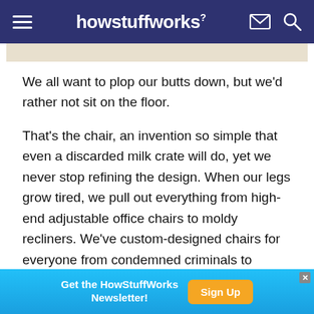howstuffworks
[Figure (other): Beige/tan advertisement banner placeholder at top of content area]
We all want to plop our butts down, but we'd rather not sit on the floor.
That's the chair, an invention so simple that even a discarded milk crate will do, yet we never stop refining the design. When our legs grow tired, we pull out everything from high-end adjustable office chairs to moldy recliners. We've custom-designed chairs for everyone from condemned criminals to reigning monarchs, and there seems to be no end
[Figure (infographic): Blue advertisement banner at bottom: 'Get the HowStuffWorks Newsletter!' with orange 'Sign Up' button]